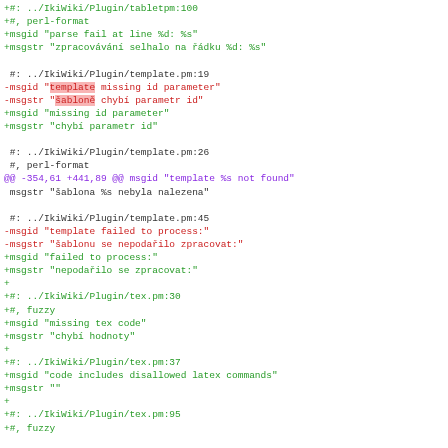Code diff showing changes to IkiWiki plugin translation files (template.pm, tex.pm) with added and removed msgid/msgstr entries in green, red, and purple diff format.